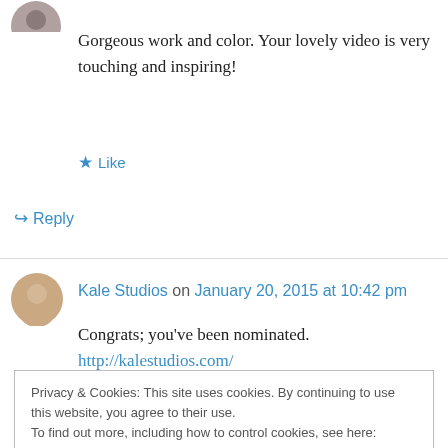[Figure (photo): Circular avatar photo of a person (partial view at top left)]
Gorgeous work and color. Your lovely video is very touching and inspiring!
★ Like
↪ Reply
[Figure (photo): Circular avatar photo of Kale Studios]
Kale Studios on January 20, 2015 at 10:42 pm
Congrats; you've been nominated.
http://kalestudios.com/
Privacy & Cookies: This site uses cookies. By continuing to use this website, you agree to their use.
To find out more, including how to control cookies, see here: Cookie Policy
Close and accept